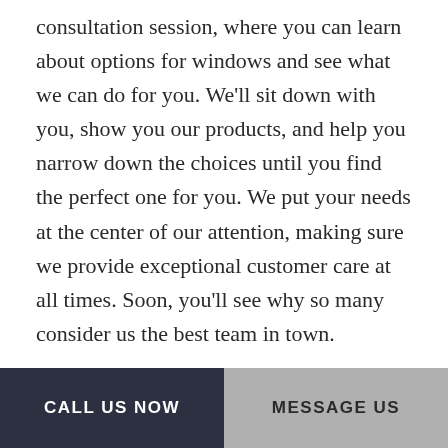consultation session, where you can learn about options for windows and see what we can do for you. We'll sit down with you, show you our products, and help you narrow down the choices until you find the perfect one for you. We put your needs at the center of our attention, making sure we provide exceptional customer care at all times. Soon, you'll see why so many consider us the best team in town.
The Window Contractor You Can Trust
We're proud of our years of experience and extensive on-the-job training, and we put our skills to work at all times. We've been in the window
CALL US NOW  |  MESSAGE US